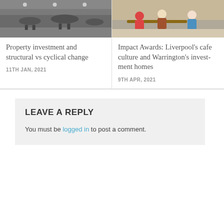[Figure (photo): Office interior with desks and chairs]
Property investment and structural vs cyclical change
11TH JAN, 2021
[Figure (photo): People sitting at a cafe/restaurant table]
Impact Awards: Liverpool's cafe culture and Warrington's investment homes
9TH APR, 2021
LEAVE A REPLY
You must be logged in to post a comment.